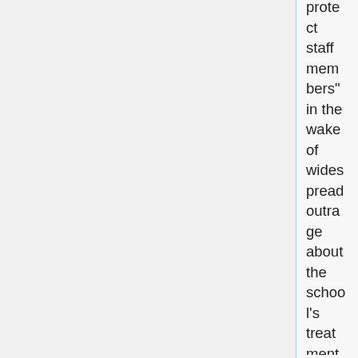protect staff members" in the wake of widespread outrage about the school's treatment of Trent Colbert, the second-year law student who invited classmates to his "trap house," according to a university spokeswoman. ... According to a now-deleted version of the student affairs website, Cosgrove's remit involves the bar exam's "character and fitness" investigations, which review aspiring lawyers' disciplinary records in